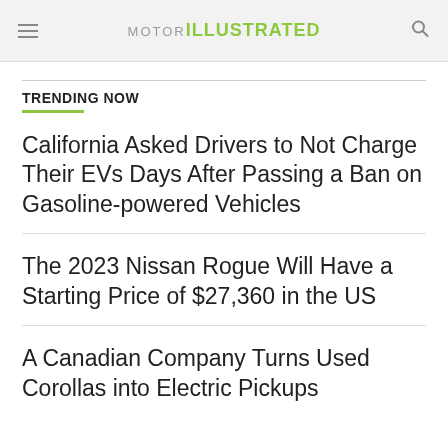MOTOR ILLUSTRATED
TRENDING NOW
California Asked Drivers to Not Charge Their EVs Days After Passing a Ban on Gasoline-powered Vehicles
The 2023 Nissan Rogue Will Have a Starting Price of $27,360 in the US
A Canadian Company Turns Used Corollas into Electric Pickups